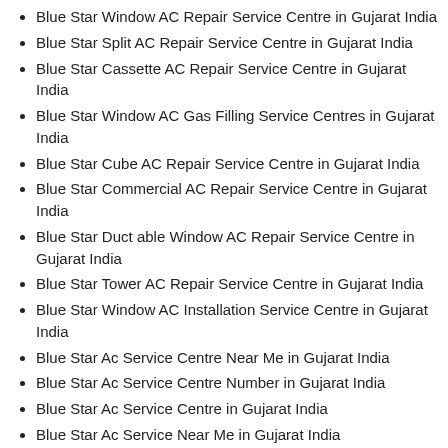Blue Star Window AC Repair Service Centre in Gujarat India
Blue Star Split AC Repair Service Centre in Gujarat India
Blue Star Cassette AC Repair Service Centre in Gujarat India
Blue Star Window AC Gas Filling Service Centres in Gujarat India
Blue Star Cube AC Repair Service Centre in Gujarat India
Blue Star Commercial AC Repair Service Centre in Gujarat India
Blue Star Duct able Window AC Repair Service Centre in Gujarat India
Blue Star Tower AC Repair Service Centre in Gujarat India
Blue Star Window AC Installation Service Centre in Gujarat India
Blue Star Ac Service Centre Near Me in Gujarat India
Blue Star Ac Service Centre Number in Gujarat India
Blue Star Ac Service Centre in Gujarat India
Blue Star Ac Service Near Me in Gujarat India
Blue Star Ac Service Review in Gujarat India
Blue Star Window AC Service Center in Gujarat India
Blue Star Window AC Shifting in Gujarat India
Blue Star Split Window AC Service & Repair in Gujarat India
Blue Star Domestic Window AC Service & Repair in Gujarat